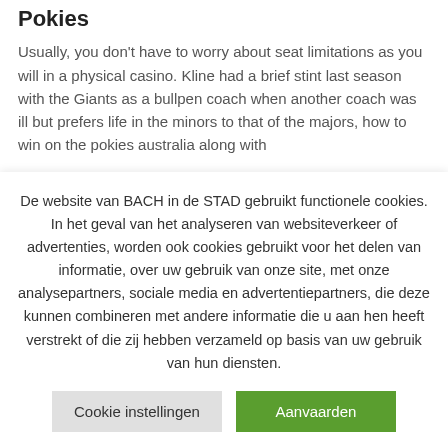Pokies
Usually, you don't have to worry about seat limitations as you will in a physical casino. Kline had a brief stint last season with the Giants as a bullpen coach when another coach was ill but prefers life in the minors to that of the majors, how to win on the pokies australia along with
De website van BACH in de STAD gebruikt functionele cookies. In het geval van het analyseren van websiteverkeer of advertenties, worden ook cookies gebruikt voor het delen van informatie, over uw gebruik van onze site, met onze analysepartners, sociale media en advertentiepartners, die deze kunnen combineren met andere informatie die u aan hen heeft verstrekt of die zij hebben verzameld op basis van uw gebruik van hun diensten.
Cookie instellingen
Aanvaarden